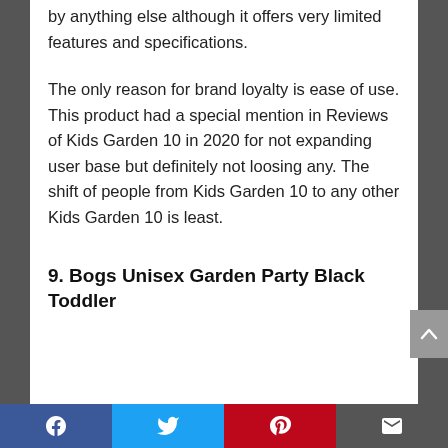by anything else although it offers very limited features and specifications.
The only reason for brand loyalty is ease of use. This product had a special mention in Reviews of Kids Garden 10 in 2020 for not expanding user base but definitely not loosing any. The shift of people from Kids Garden 10 to any other Kids Garden 10 is least.
9. Bogs Unisex Garden Party Black Toddler